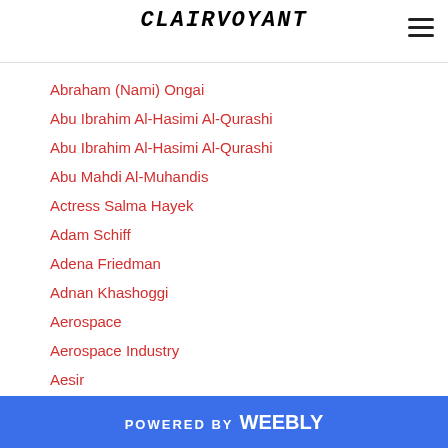CLAIRVOYANT
Abraham (Nami) Ongai
Abu Ibrahim Al-Hasimi Al-Qurashi
Abu Ibrahim Al-Hasimi Al-Qurashi
Abu Mahdi Al-Muhandis
Actress Salma Hayek
Adam Schiff
Adena Friedman
Adnan Khashoggi
Aerospace
Aerospace Industry
Aesir
Afghanistan
Air
Aircraft ARADO 196
Aircraft Carrier
POWERED BY weebly